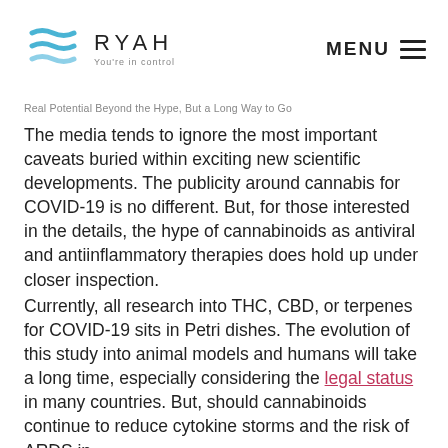RYAH You're in control | MENU
Real Potential Beyond the Hype, But a Long Way to Go
The media tends to ignore the most important caveats buried within exciting new scientific developments. The publicity around cannabis for COVID-19 is no different. But, for those interested in the details, the hype of cannabinoids as antiviral and antiinflammatory therapies does hold up under closer inspection.
Currently, all research into THC, CBD, or terpenes for COVID-19 sits in Petri dishes. The evolution of this study into animal models and humans will take a long time, especially considering the legal status in many countries. But, should cannabinoids continue to reduce cytokine storms and the risk of ARDS in